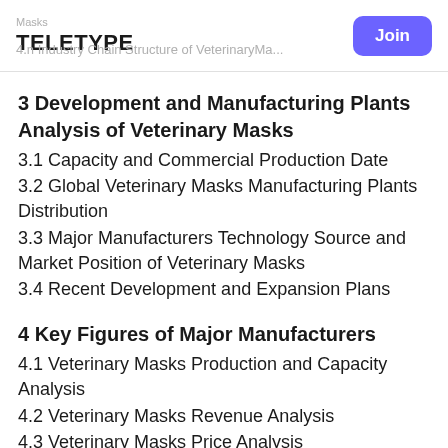Masks | teletype | Join
3 Development and Manufacturing Plants Analysis of Veterinary Masks
3.1 Capacity and Commercial Production Date
3.2 Global Veterinary Masks Manufacturing Plants Distribution
3.3 Major Manufacturers Technology Source and Market Position of Veterinary Masks
3.4 Recent Development and Expansion Plans
4 Key Figures of Major Manufacturers
4.1 Veterinary Masks Production and Capacity Analysis
4.2 Veterinary Masks Revenue Analysis
4.3 Veterinary Masks Price Analysis
4.4 Market Concentration Degree